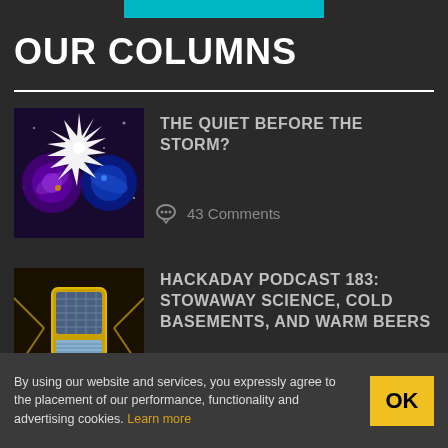OUR COLUMNS
[Figure (illustration): Cosmic/galaxy themed image with purple galaxies and white starburst in center on dark background]
THE QUIET BEFORE THE STORM?
43 Comments
[Figure (illustration): Retro-style microphone illustration in yellow/gold and blue on dark background - Hackaday Podcast artwork]
HACKADAY PODCAST 183: STOWAWAY SCIENCE, COLD BASEMENTS, AND WARM BEERS
4 Comments
By using our website and services, you expressly agree to the placement of our performance, functionality and advertising cookies. Learn more